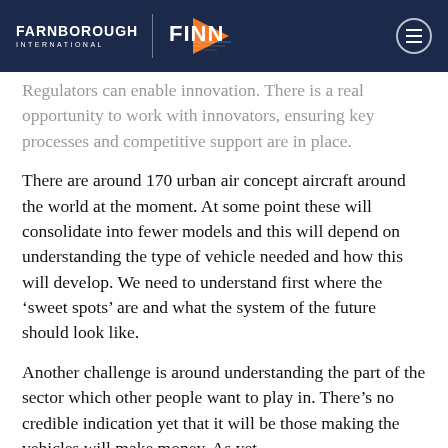[Figure (logo): Farnborough International and FINN logos on dark navy header with hamburger menu button]
Regulators can enable innovation. There is a real opportunity to work with innovators, ensuring key processes and competitive support are in place.
There are around 170 urban air concept aircraft around the world at the moment. At some point these will consolidate into fewer models and this will depend on understanding the type of vehicle needed and how this will develop. We need to understand first where the ‘sweet spots’ are and what the system of the future should look like.
Another challenge is around understanding the part of the sector which other people want to play in. There’s no credible indication yet that it will be those making the vehicles will make money. As yet,